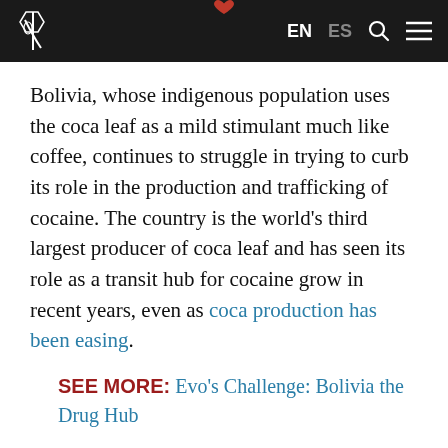EN ES [navigation bar with logo, language switcher, search and menu icons]
Bolivia, whose indigenous population uses the coca leaf as a mild stimulant much like coffee, continues to struggle in trying to curb its role in the production and trafficking of cocaine. The country is the world's third largest producer of coca leaf and has seen its role as a transit hub for cocaine grow in recent years, even as coca production has been easing.
SEE MORE: Evo's Challenge: Bolivia the Drug Hub
The Bolivian government is attempting to crack down on drug trafficking, as the recent joi...